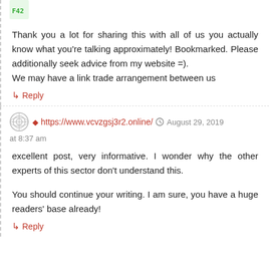Thank you a lot for sharing this with all of us you actually know what you're talking approximately! Bookmarked. Please additionally seek advice from my website =).
We may have a link trade arrangement between us
↳ Reply
https://www.vcvzgsj3r2.online/  August 29, 2019 at 8:37 am
excellent post, very informative. I wonder why the other experts of this sector don't understand this.

You should continue your writing. I am sure, you have a huge readers' base already!
↳ Reply